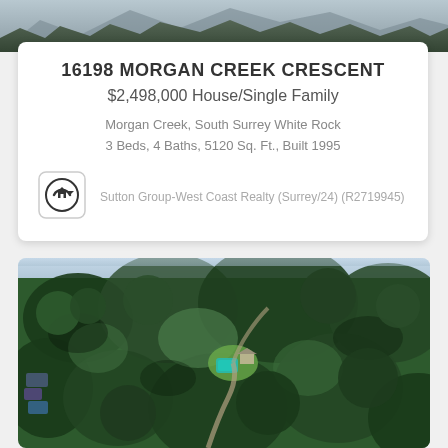[Figure (photo): Aerial/landscape photo at the top of the page, showing trees and sky]
16198 MORGAN CREEK CRESCENT
$2,498,000 House/Single Family
Morgan Creek, South Surrey White Rock
3 Beds, 4 Baths, 5120 Sq. Ft., Built 1995
Sutton Group-West Coast Realty (Surrey/24) (R2719945)
[Figure (photo): Aerial drone photo showing a forested property with a house and pool visible through dense evergreen trees, with a driveway winding through the forest]